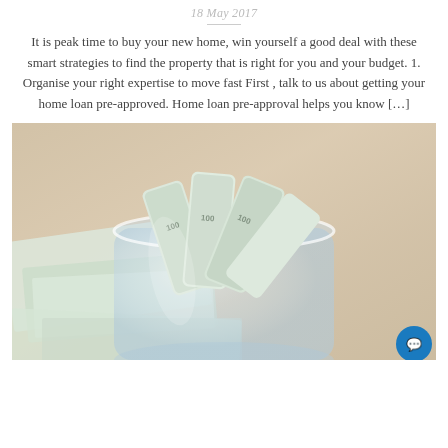18 May 2017
It is peak time to buy your new home, win yourself a good deal with these smart strategies to find the property that is right for you and your budget. 1. Organise your right expertise to move fast First , talk to us about getting your home loan pre-approved. Home loan pre-approval helps you know […]
[Figure (photo): A glass jar filled with rolled US $100 dollar bills, with more banknotes spread on a wooden surface in the background.]